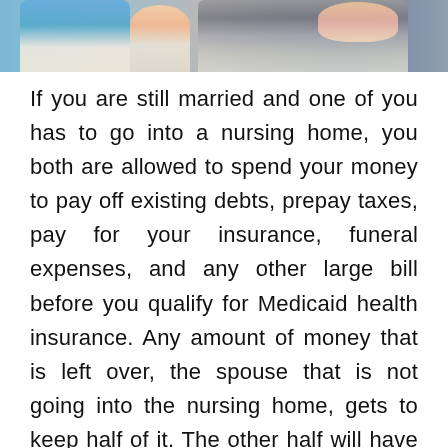[Figure (photo): Photo of a nurse or caregiver with an elderly person in a wheelchair outdoors]
If you are still married and one of you has to go into a nursing home, you both are allowed to spend your money to pay off existing debts, prepay taxes, pay for your insurance, funeral expenses, and any other large bill before you qualify for Medicaid health insurance. Any amount of money that is left over, the spouse that is not going into the nursing home, gets to keep half of it. The other half will have to go towards bills to get your asset total to $2,000. This will help you to qualify for